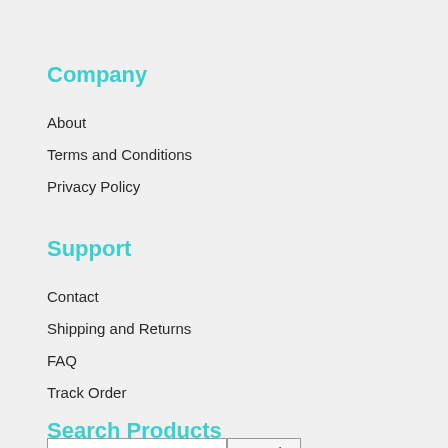Company
About
Terms and Conditions
Privacy Policy
Support
Contact
Shipping and Returns
FAQ
Track Order
Search Products